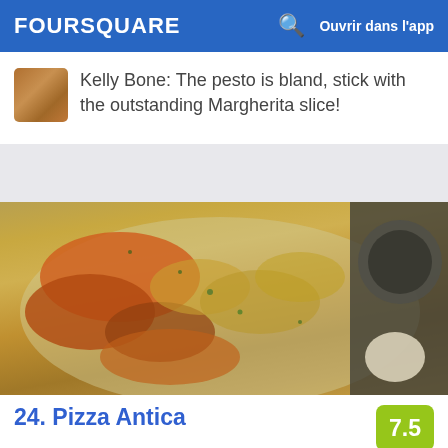FOURSQUARE  Ouvrir dans l'app
Kelly Bone: The pesto is bland, stick with the outstanding Margherita slice!
[Figure (photo): Close-up photo of a seafood dish with shrimp and shellfish on a white plate, with a dark bowl in the background]
24. Pizza Antica
395 Santa Monica Pl (at 3rd Street), Santa Monica, CA
Pizzeria · Downtown Santa Monica · 51 conseils et avis